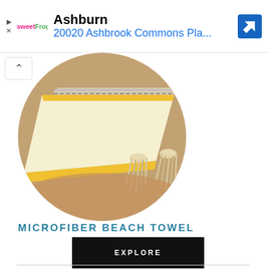[Figure (screenshot): Ad banner showing sweetFrog logo, location 'Ashburn', address '20020 Ashbrook Commons Pla...', and a blue navigation arrow icon]
[Figure (photo): Circular cropped photo of a yellow-trimmed microfiber beach towel with tassels lying on sandy beach]
MICROFIBER BEACH TOWEL
EXPLORE
SHOP